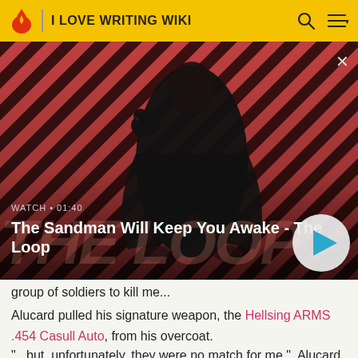I LOVE WRITING WIKI
[Figure (screenshot): Video thumbnail showing a dark-cloaked figure with a raven on shoulder against a red and dark striped diagonal background. Overlay text reads: WATCH • 01:40 / The Sandman Will Keep You Awake - The Loop. A play button circle is on the right.]
group of soldiers to kill me...
Alucard pulled his signature weapon, the Hellsing ARMS .454 Casull Auto, from his overcoat.
"...but, unfortunately, they were no match for me.", Alucard